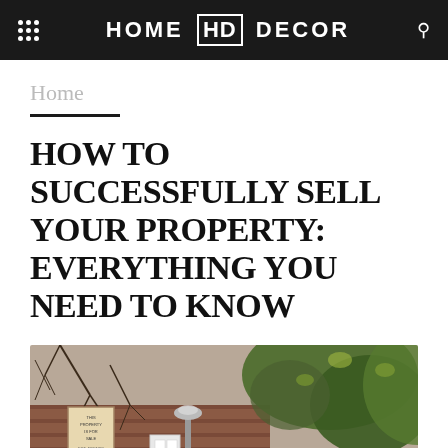HOME HD DECOR
Home
HOW TO SUCCESSFULLY SELL YOUR PROPERTY: EVERYTHING YOU NEED TO KNOW
[Figure (photo): Exterior view of a property with ivy-covered brick walls, bare winter branches, a real estate sign, and a lamp post in front]